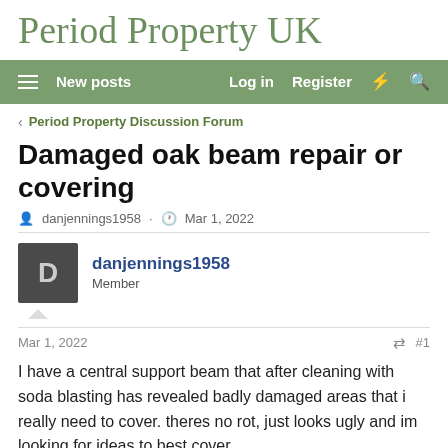Period Property UK
New posts  Log in  Register
< Period Property Discussion Forum
Damaged oak beam repair or covering
danjennings1958 · Mar 1, 2022
danjennings1958
Member
Mar 1, 2022  #1
I have a central support beam that after cleaning with soda blasting has revealed badly damaged areas that i really need to cover. theres no rot, just looks ugly and im looking for ideas to best cover.
I though plastering of some sort in between, but it was suggested plaster might not stick unless i wire over it, to